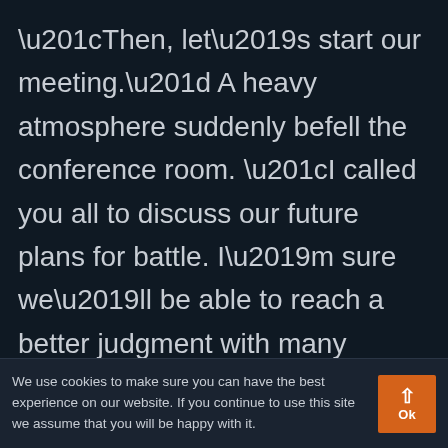“Then, let’s start our meeting.” A heavy atmosphere suddenly befell the conference room. “I called you all to discuss our future plans for battle. I’m sure we’ll be able to reach a better judgment with many heads than one.” As he talked, the commander looked not to the side where the city’s regular army was, but toward where Zich was sitting. “So, if you all have something you want to say, please don’t
We use cookies to make sure you can have the best experience on our website. If you continue to use this site we assume that you will be happy with it.